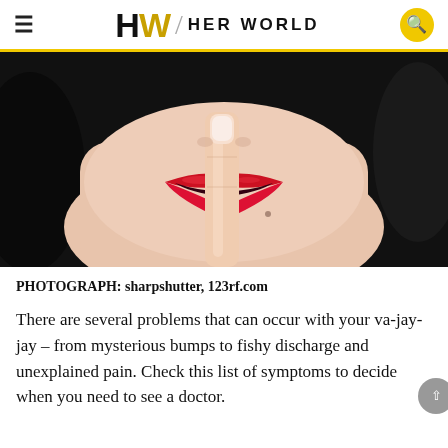HW / HER WORLD
[Figure (photo): Close-up of a woman with red lipstick holding a finger to her lips in a shushing gesture, against a dark background.]
PHOTOGRAPH: sharpshutter, 123rf.com
There are several problems that can occur with your va-jay-jay – from mysterious bumps to fishy discharge and unexplained pain. Check this list of symptoms to decide when you need to see a doctor.